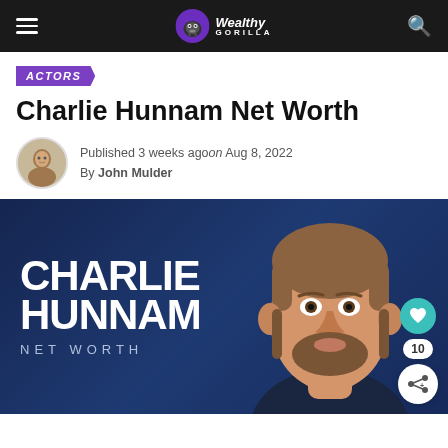Wealthy Gorilla
ACTORS
Charlie Hunnam Net Worth
Published 3 weeks ago on Aug 8, 2022
By John Mulder
[Figure (illustration): Hero banner with illustrated portrait of Charlie Hunnam, dark navy blue background, text 'CHARLIE HUNNAM NET WORTH' on the left, with social share buttons (heart, 10, share) on the right side]